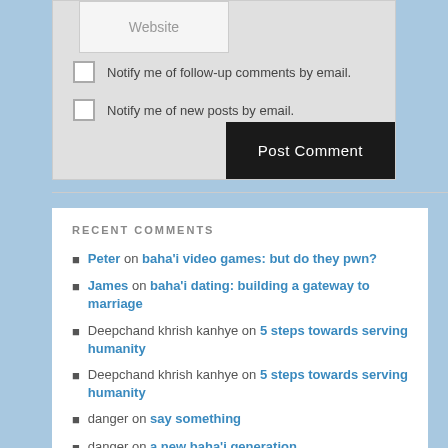Website (input field)
Notify me of follow-up comments by email.
Notify me of new posts by email.
Post Comment
RECENT COMMENTS
Peter on baha'i video games: but do they pwn?
James on baha'i dating: building a gateway to marriage
Deepchand khrish kanhye on 5 steps towards serving humanity
Deepchand khrish kanhye on 5 steps towards serving humanity
danger on say something
danger on a new baha'i generation
Em on a new baha'i generation
Majlle Turbide on say something